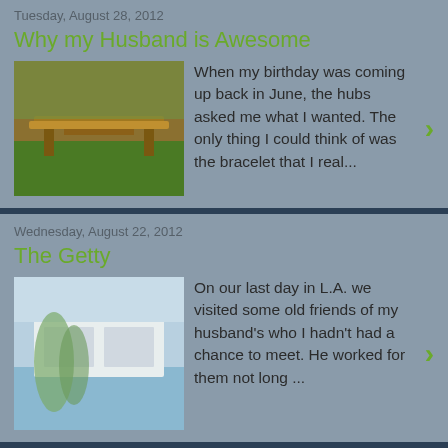Tuesday, August 28, 2012
Why my Husband is Awesome
When my birthday was coming up back in June, the hubs asked me what I wanted.  The only thing I could think of was the bracelet that I real...
Wednesday, August 22, 2012
The Getty
On our last day in L.A. we visited some old friends of my husband's who I hadn't had a chance to meet.  He worked for them not long ...
Monday, August 20, 2012
Legos are Awesome
We visited Downtown Disney after our first day at Disney.  After stuffing ourselves at the Rainforest Cafe, we wandered over to the Lego sto